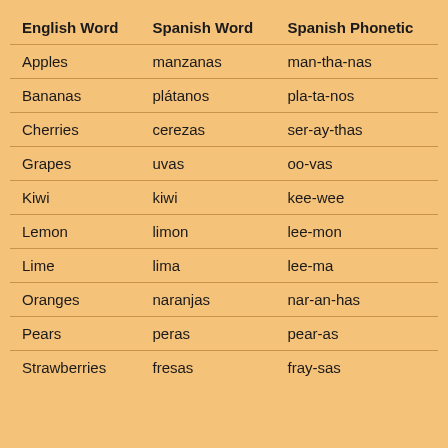| English Word | Spanish Word | Spanish Phonetic |
| --- | --- | --- |
| Apples | manzanas | man-tha-nas |
| Bananas | plátanos | pla-ta-nos |
| Cherries | cerezas | ser-ay-thas |
| Grapes | uvas | oo-vas |
| Kiwi | kiwi | kee-wee |
| Lemon | limon | lee-mon |
| Lime | lima | lee-ma |
| Oranges | naranjas | nar-an-has |
| Pears | peras | pear-as |
| Strawberries | fresas | fray-sas |